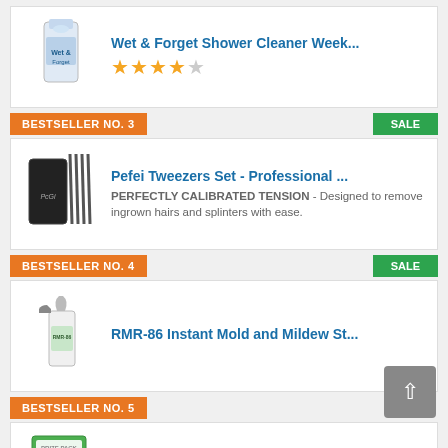[Figure (photo): Wet & Forget Shower Cleaner product image - large white jug]
Wet & Forget Shower Cleaner Week...
★★★★☆ (4 out of 5 stars)
BESTSELLER NO. 3
SALE
[Figure (photo): Pefei Tweezers Set product image - black case with tweezers]
Pefei Tweezers Set - Professional ...
PERFECTLY CALIBRATED TENSION - Designed to remove ingrown hairs and splinters with ease.
BESTSELLER NO. 4
SALE
[Figure (photo): RMR-86 Instant Mold and Mildew Stain Remover spray bottle]
RMR-86 Instant Mold and Mildew St...
BESTSELLER NO. 5
[Figure (photo): Affresh Washing Machine Cleaner box - green and white packaging]
Affresh Washing Machine Cleaner, ...
Helps remove odor-causing residues and grime; Cleans deep inside pump, valve, tub